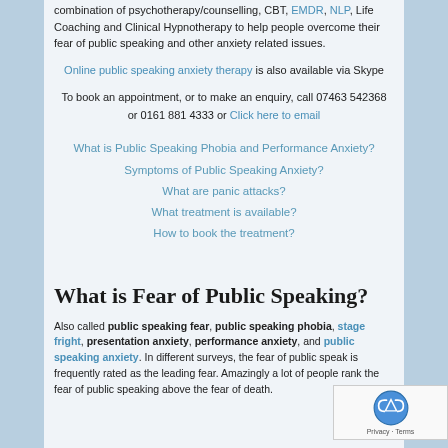combination of psychotherapy/counselling, CBT, EMDR, NLP, Life Coaching and Clinical Hypnotherapy to help people overcome their fear of public speaking and other anxiety related issues.
Online public speaking anxiety therapy is also available via Skype
To book an appointment, or to make an enquiry, call 07463 542368 or 0161 881 4333 or Click here to email
What is Public Speaking Phobia and Performance Anxiety?
Symptoms of Public Speaking Anxiety?
What are panic attacks?
What treatment is available?
How to book the treatment?
What is Fear of Public Speaking?
Also called public speaking fear, public speaking phobia, stage fright, presentation anxiety, performance anxiety, and public speaking anxiety. In different surveys, the fear of public speaking is frequently rated as the leading fear. Amazingly a lot of people rank the fear of public speaking above the fear of death.